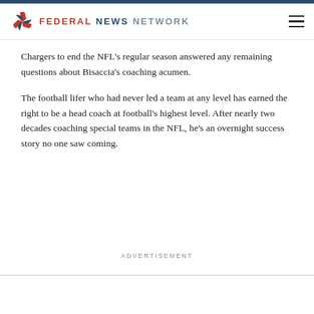FEDERAL NEWS NETWORK
Chargers to end the NFL's regular season answered any remaining questions about Bisaccia's coaching acumen.
The football lifer who had never led a team at any level has earned the right to be a head coach at football's highest level. After nearly two decades coaching special teams in the NFL, he's an overnight success story no one saw coming.
ADVERTISEMENT